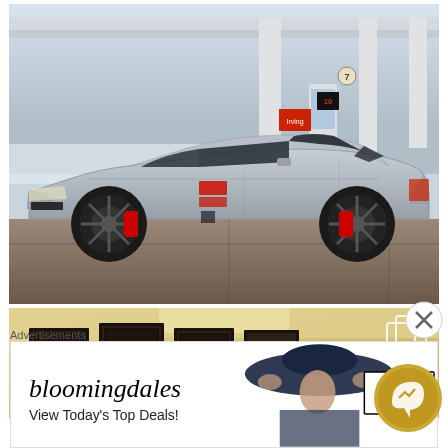[Figure (photo): Silver Audi RS5 Sportback with black wheels and red brake calipers at an Irving gas station, side profile view, winter/foggy background]
[Figure (photo): Partial view of interior room with framed artwork/photos on wall, warm yellowish tones, copy/duplicate icon visible in top right]
Advertisements
[Figure (photo): Bloomingdale's advertisement banner: bloomingdales logo, 'View Today's Top Deals!' text, woman in large hat, 'SHOP NOW >' button]